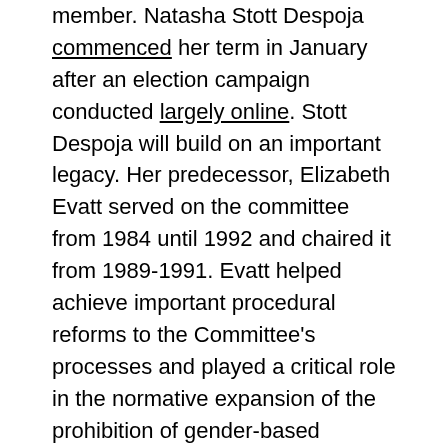member. Natasha Stott Despoja commenced her term in January after an election campaign conducted largely online. Stott Despoja will build on an important legacy. Her predecessor, Elizabeth Evatt served on the committee from 1984 until 1992 and chaired it from 1989-1991. Evatt helped achieve important procedural reforms to the Committee's processes and played a critical role in the normative expansion of the prohibition of gender-based violence, promoting the understanding that violence in the private sphere is a violation of human rights.7
In a media release congratulating Stott Despoja on her election, Senator Marise Payne links the government's support for the election of an